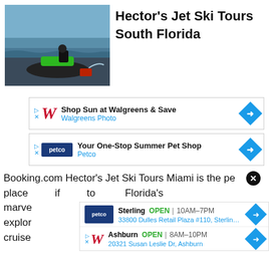[Figure (photo): A green and black jet ski on a beach with dark sand and ocean waves in the background]
Hector's Jet Ski Tours South Florida
[Figure (infographic): Walgreens ad: Shop Sun at Walgreens & Save - Walgreens Photo]
[Figure (infographic): Petco ad: Your One-Stop Summer Pet Shop - Petco]
Booking.com Hector's Jet Ski Tours Miami is the perfect place ... if you want to experience Florida's marvel ... ou to explor ... cruise ... lot of
[Figure (infographic): Popup ad overlay showing Petco store: Sterling OPEN 10AM-7PM and Walgreens Ashburn OPEN 8AM-10PM 20321 Susan Leslie Dr, Ashburn]